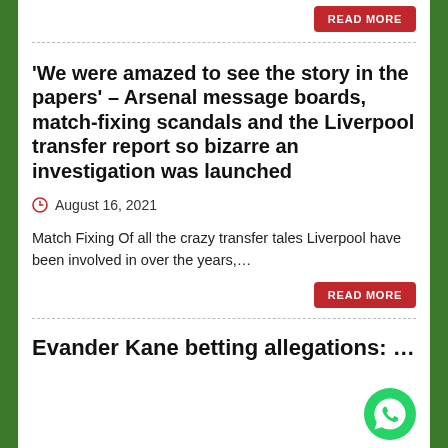READ MORE
'We were amazed to see the story in the papers' – Arsenal message boards, match-fixing scandals and the Liverpool transfer report so bizarre an investigation was launched
August 16, 2021
Match Fixing Of all the crazy transfer tales Liverpool have been involved in over the years,...
READ MORE
Evander Kane betting allegations: Wh...